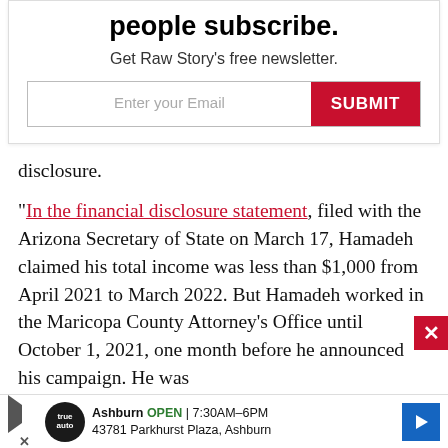people subscribe.
Get Raw Story's free newsletter.
Enter your Email  SUBMIT
disclosure.
"In the financial disclosure statement, filed with the Arizona Secretary of State on March 17, Hamadeh claimed his total income was less than $1,000 from April 2021 to March 2022. But Hamadeh worked in the Maricopa County Attorney's Office until October 1, 2021, one month before he announced his campaign. He was
Ashburn  OPEN  7:30AM–6PM  43781 Parkhurst Plaza, Ashburn